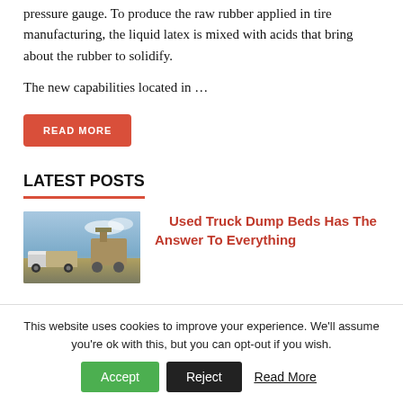pressure gauge. To produce the raw rubber applied in tire manufacturing, the liquid latex is mixed with acids that bring about the rubber to solidify.
The new capabilities located in …
READ MORE
LATEST POSTS
[Figure (photo): Photo of a white truck with a dump bed parked near construction equipment outdoors under a partly cloudy sky.]
Used Truck Dump Beds Has The Answer To Everything
This website uses cookies to improve your experience. We'll assume you're ok with this, but you can opt-out if you wish.
Accept   Reject   Read More